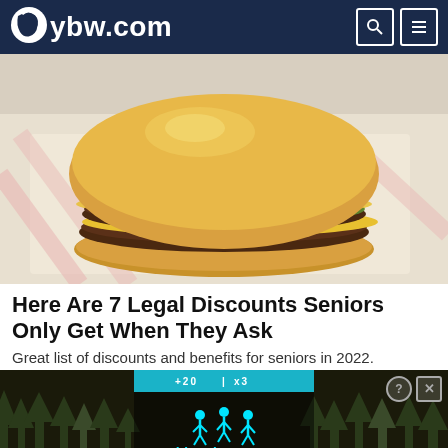ybw.com
[Figure (photo): Close-up photo of a fast food double cheeseburger with two beef patties and cheese, sitting on fast food wrapper paper]
Here Are 7 Legal Discounts Seniors Only Get When They Ask
Great list of discounts and benefits for seniors in 2022.
[Figure (photo): Advertisement banner showing a dark outdoor scene with trees, a game-like overlay with 'Hold and Move' text in cyan, and top bar with score indicators]